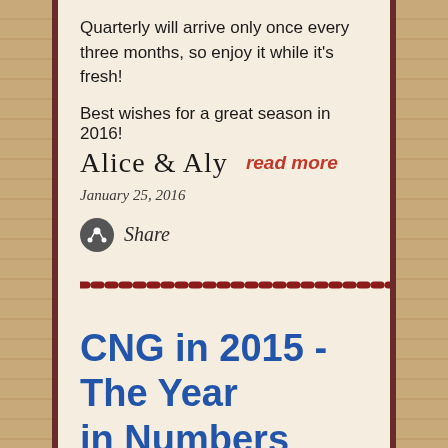Quarterly will arrive only once every three months, so enjoy it while it's fresh!
Best wishes for a great season in 2016!
[Figure (illustration): Handwritten signature reading 'Alice & Aly']
read more
January 25, 2016
[Figure (other): Share icon (dark circle with network/people symbol) followed by italic text 'Share']
[Figure (other): Decorative dotted red divider line]
CNG in 2015 - The Year in Numbers